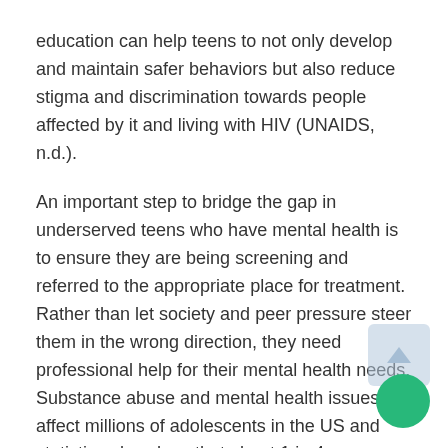education can help teens to not only develop and maintain safer behaviors but also reduce stigma and discrimination towards people affected by it and living with HIV (UNAIDS, n.d.).
An important step to bridge the gap in underserved teens who have mental health is to ensure they are being screening and referred to the appropriate place for treatment. Rather than let society and peer pressure steer them in the wrong direction, they need professional help for their mental health needs. Substance abuse and mental health issues affect millions of adolescents in the US and statistics also show that about 1 in 4 adolescents who experience mental disorders will suffer from severe impairment and only about half of the adolescents who suffer from mental health issues do receive services (L et al., 2018). Part of this lack of treatment is an inadequate